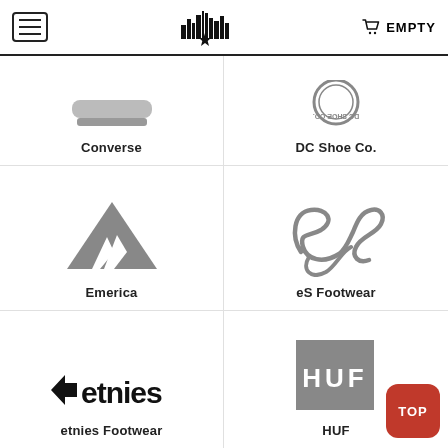EMPTY
[Figure (logo): Converse logo (partial, top cropped)]
Converse
[Figure (logo): DC Shoe Co. circular logo (upside down, partial)]
DC Shoe Co.
[Figure (logo): Emerica mountain/arrow logo in gray]
Emerica
[Figure (logo): eS Footwear stylized cursive logo in gray]
eS Footwear
[Figure (logo): etnies Footwear logo in black with arrow]
etnies Footwear
[Figure (logo): HUF logo white text on gray square background]
HUF